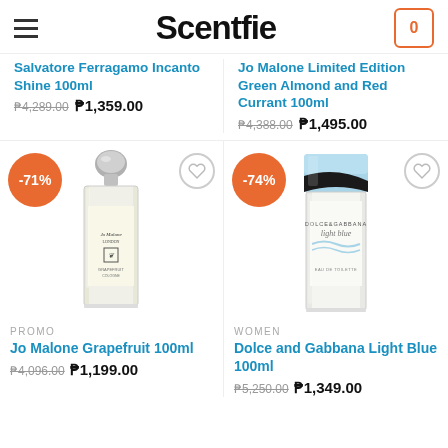Scentfie
Salvatore Ferragamo Incanto Shine 100ml ₱4,289.00 ₱1,359.00
Jo Malone Limited Edition Green Almond and Red Currant 100ml ₱4,388.00 ₱1,495.00
[Figure (photo): Jo Malone Grapefruit 100ml perfume bottle with -71% discount badge and wishlist heart icon]
[Figure (photo): Dolce and Gabbana Light Blue 100ml perfume bottle with -74% discount badge and wishlist heart icon]
PROMO
Jo Malone Grapefruit 100ml
₱4,096.00 ₱1,199.00
WOMEN
Dolce and Gabbana Light Blue 100ml
₱5,250.00 ₱1,349.00